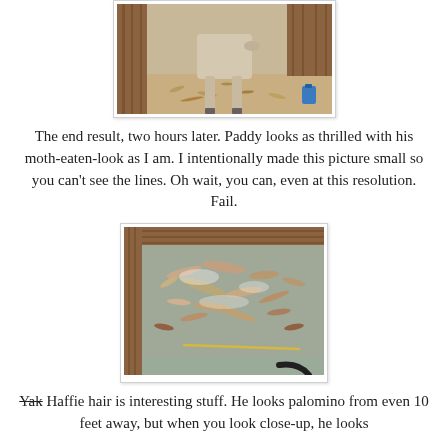[Figure (photo): A goat or similar animal standing in a barn with wood shavings on the floor, viewed from behind/side. A blue object is visible in the background.]
The end result, two hours later. Paddy looks as thrilled with his moth-eaten-look as I am. I intentionally made this picture small so you can't see the lines. Oh wait, you can, even at this resolution. Fail.
[Figure (photo): Close-up of a barn floor covered with scattered horse or animal hair clippings mixed with shavings and dust on a grey mat surface.]
Yak Haffie hair is interesting stuff. He looks palomino from even 10 feet away, but when you look close-up, he looks